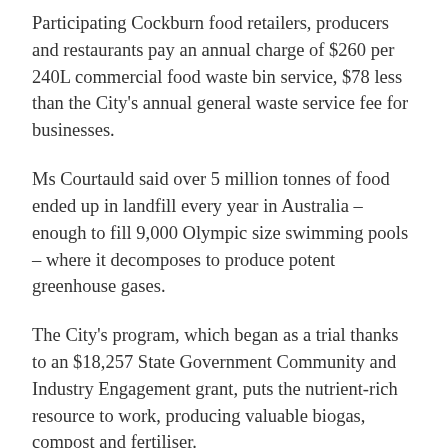Participating Cockburn food retailers, producers and restaurants pay an annual charge of $260 per 240L commercial food waste bin service, $78 less than the City's annual general waste service fee for businesses.
Ms Courtauld said over 5 million tonnes of food ended up in landfill every year in Australia – enough to fill 9,000 Olympic size swimming pools – where it decomposes to produce potent greenhouse gases.
The City's program, which began as a trial thanks to an $18,257 State Government Community and Industry Engagement grant, puts the nutrient-rich resource to work, producing valuable biogas, compost and fertiliser.
This November, the City of Cockburn was recognised by WA's peak representative body for local government professionals for 20 years of environmental and